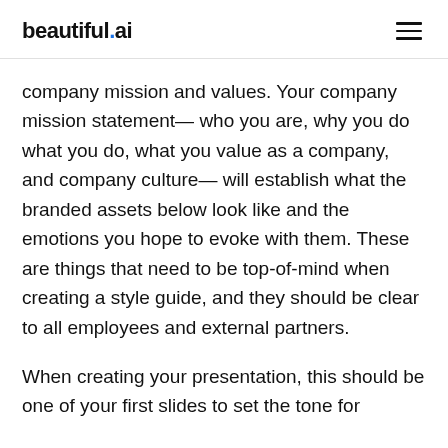beautiful.ai
company mission and values. Your company mission statement— who you are, why you do what you do, what you value as a company, and company culture— will establish what the branded assets below look like and the emotions you hope to evoke with them. These are things that need to be top-of-mind when creating a style guide, and they should be clear to all employees and external partners.
When creating your presentation, this should be one of your first slides to set the tone for